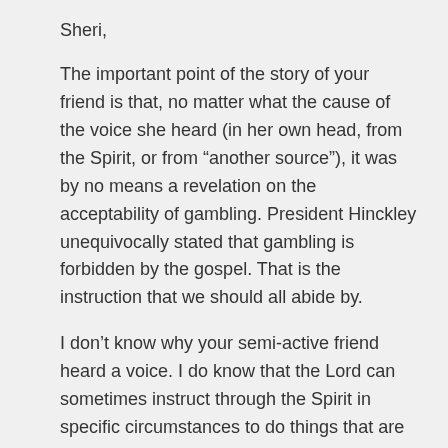Sheri,
The important point of the story of your friend is that, no matter what the cause of the voice she heard (in her own head, from the Spirit, or from “another source”), it was by no means a revelation on the acceptability of gambling. President Hinckley unequivocally stated that gambling is forbidden by the gospel. That is the instruction that we should all abide by.
I don’t know why your semi-active friend heard a voice. I do know that the Lord can sometimes instruct through the Spirit in specific circumstances to do things that are otherwise forbidden (Nephi killing Laban, for example). But the individual involved should be very clear that the source is the Spirit, and should seek confirmation of that fact through prayer.